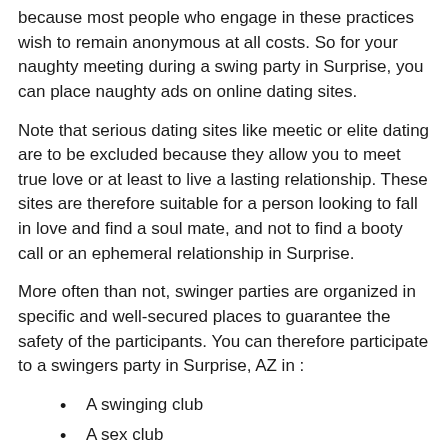because most people who engage in these practices wish to remain anonymous at all costs. So for your naughty meeting during a swing party in Surprise, you can place naughty ads on online dating sites.
Note that serious dating sites like meetic or elite dating are to be excluded because they allow you to meet true love or at least to live a lasting relationship. These sites are therefore suitable for a person looking to fall in love and find a soul mate, and not to find a booty call or an ephemeral relationship in Surprise.
More often than not, swinger parties are organized in specific and well-secured places to guarantee the safety of the participants. You can therefore participate to a swingers party in Surprise, AZ in :
A swinging club
A sex club
A sex sauna
A hot hammam
A sex bar